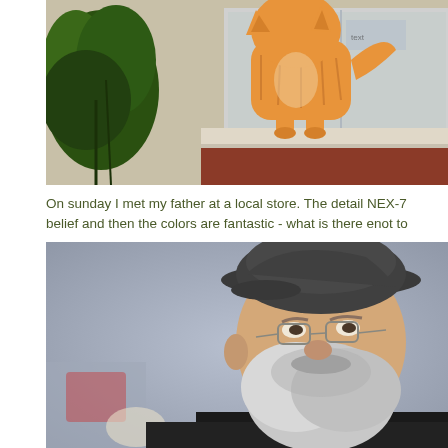[Figure (photo): An orange tabby cat standing on a window ledge outside a store, with green plants/bushes visible on the left and a glass window and rust-colored panel behind the cat.]
On sunday I met my father at a local store. The detail NEX-7 belief and then the colors are fantastic - what is there enot to
[Figure (photo): Close-up portrait of an elderly bearded man wearing a dark flat cap (newsboy cap) and wire-rimmed glasses, with a blurred background.]